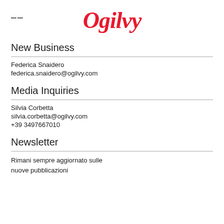Ogilvy
New Business
Federica Snaidero
federica.snaidero@ogilvy.com
Media Inquiries
Silvia Corbetta
silvia.corbetta@ogilvy.com
+39 3497667010
Newsletter
Rimani sempre aggiornato sulle nuove pubblicazioni